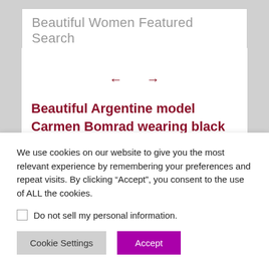Beautiful Women Featured Search
[Figure (other): Content card with navigation arrows (← →) and article title in dark red]
Beautiful Argentine model Carmen Bomrad wearing black underwear for a sexy shoot
We use cookies on our website to give you the most relevant experience by remembering your preferences and repeat visits. By clicking “Accept”, you consent to the use of ALL the cookies.
Do not sell my personal information.
Cookie Settings
Accept